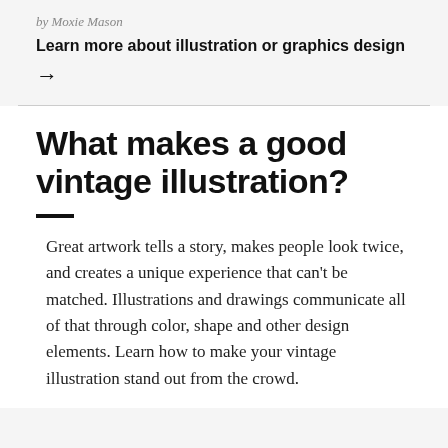by Moxie Mason
Learn more about illustration or graphics design →
What makes a good vintage illustration?
Great artwork tells a story, makes people look twice, and creates a unique experience that can't be matched. Illustrations and drawings communicate all of that through color, shape and other design elements. Learn how to make your vintage illustration stand out from the crowd.